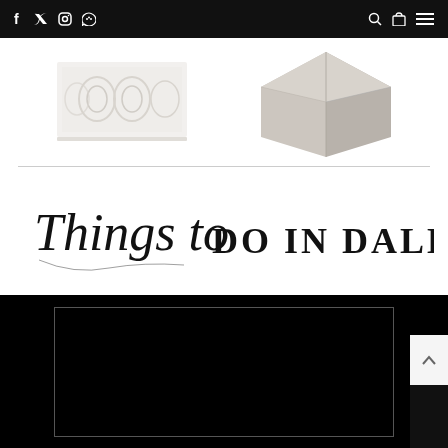Navigation bar with social icons (f, Twitter, Instagram, Pinterest), search, bag, and hamburger menu
[Figure (photo): Two product images: left is a white embossed floral bath/area rug, right is a grey/taupe leather or fabric box/cube]
[Figure (logo): Script handwriting 'Things to' combined with bold serif 'DO IN DALLAS' text logo]
[Figure (photo): Black panel with a thin bordered inner rectangle, appears to be a video thumbnail placeholder]